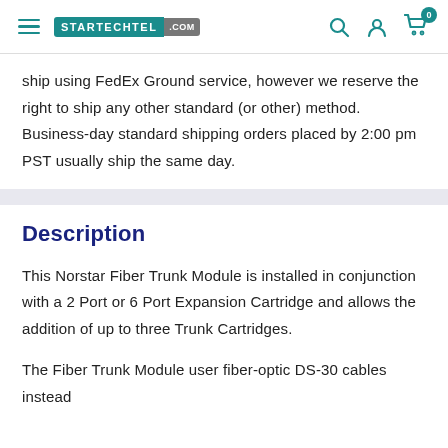STARTECHTEL .COM
ship using FedEx Ground service, however we reserve the right to ship any other standard (or other) method. Business-day standard shipping orders placed by 2:00 pm PST usually ship the same day.
Description
This Norstar Fiber Trunk Module is installed in conjunction with a 2 Port or 6 Port Expansion Cartridge and allows the addition of up to three Trunk Cartridges.
The Fiber Trunk Module user fiber-optic DS-30 cables instead